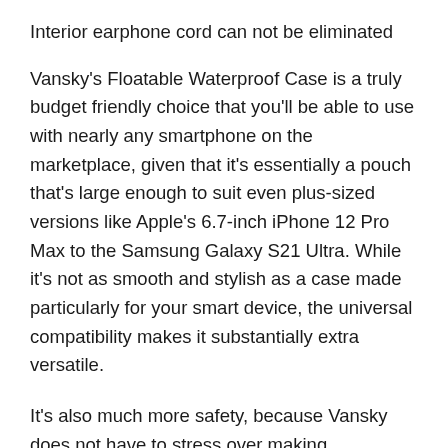Interior earphone cord can not be eliminated
Vansky's Floatable Waterproof Case is a truly budget friendly choice that you'll be able to use with nearly any smartphone on the marketplace, given that it's essentially a pouch that's large enough to suit even plus-sized versions like Apple's 6.7-inch iPhone 12 Pro Max to the Samsung Galaxy S21 Ultra. While it's not as smooth and stylish as a case made particularly for your smart device, the universal compatibility makes it substantially extra versatile.
It's also much more safety, because Vansky does not have to stress over making allowances for ports and also buttons and also other orifices on your smartphone. It can keep your phone risk-free and also dry down to 100 feet for as much as thirty minutes, yet it likewise drifts, so it's great for activities where you're worried concerning your costly smart device entering into the water, like boating and also rafting. You